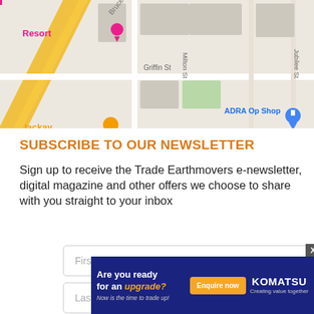[Figure (map): Google Maps screenshot showing Bruce Hwy, Griffin St, Milton St, Jubilee St, Wellington St area with Resort pin (pink), ADRA Op Shop pin (blue), and restaurant/food pin (yellow). Mackay area map.]
SUBSCRIBE TO OUR NEWSLETTER
Sign up to receive the Trade Earthmovers e-newsletter, digital magazine and other offers we choose to share with you straight to your inbox
[Figure (screenshot): First Name input field (form element with placeholder text)]
[Figure (screenshot): Last Name input field (form element with placeholder text)]
[Figure (infographic): Komatsu advertisement banner: 'Are you ready for an upgrade? Now is the time to trade up!' with Enquire now button and Komatsu Creating value together logo on dark blue background. X close button visible.]